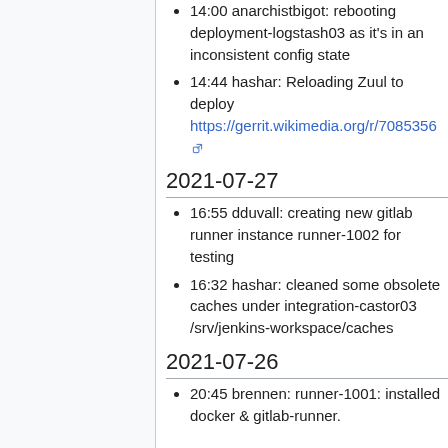14:00 anarchistbigot: rebooting deployment-logstash03 as it's in an inconsistent config state
14:44 hashar: Reloading Zuul to deploy https://gerrit.wikimedia.org/r/7085336
2021-07-27
16:55 dduvall: creating new gitlab runner instance runner-1002 for testing
16:32 hashar: cleaned some obsolete caches under integration-castor03 /srv/jenkins-workspace/caches
2021-07-26
20:45 brennen: runner-1001: installed docker & gitlab-runner.